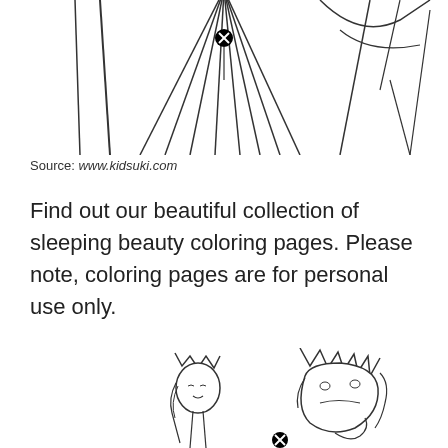[Figure (illustration): Partial coloring page illustration showing radiating lines from a central point with a small circular X marker, and diagonal lines suggesting a forest or castle scene — top portion of a sleeping beauty coloring page.]
Source: www.kidsuki.com
Find out our beautiful collection of sleeping beauty coloring pages. Please note, coloring pages are for personal use only.
[Figure (illustration): Coloring page illustration showing two characters: a princess with a small crown and flowing hair on the left, and a villain/witch character with a spiky crown on the right, with a small circular X marker at the bottom center.]